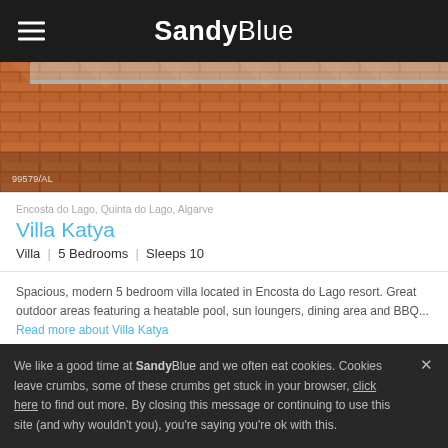SandyBlue
[Figure (photo): Terracotta brick/tile patio or poolside area with herringbone pattern. Property reference number 99579/AL visible in bottom-left corner.]
Encosta do Lago, Quinta do Lago, Algarve
Villa Katya
Villa | 5 Bedrooms | Sleeps 10
Spacious, modern 5 bedroom villa located in Encosta do Lago resort. Great outdoor areas featuring a heatable pool, sun loungers, dining area and BBQ... Read more about Villa Katya
Price from: €4,506
We like a good time at SandyBlue and we often eat cookies. Cookies leave crumbs, some of these crumbs get stuck in your browser, click here to find out more. By closing this message or continuing to use this site (and why wouldn't you), you're saying you're ok with this.